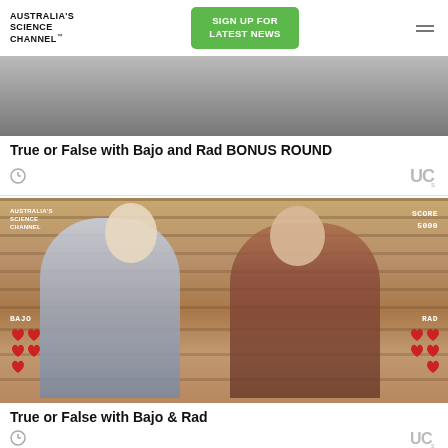Australia's Science Channel™
SIGN UP FOR LATEST NEWS
[Figure (photo): Partial cropped photo of two people, top portion visible, black and white or muted tones]
True or False with Bajo and Rad BONUS ROUND
[Figure (photo): Photo of two people sitting on bleacher steps with hands to mouths in a shushing pose. Game-style overlay shows BAJO on left with hearts, RAD on right with hearts, SCORE 5000 top right, and Australia's Science Channel logo top left.]
True or False with Bajo & Rad